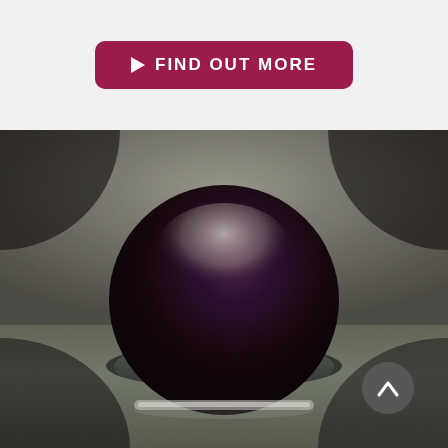[Figure (other): A crimson/dark-red rounded rectangular button with a play arrow icon and bold white uppercase text reading '▶ FIND OUT MORE' on a light grey background.]
[Figure (photo): A dark spherical object (resembling a shiny dark-colored ball or helmet) photographed against a speckled grey concrete background wall, sitting on a speckled grey surface. The object has a glossy black/dark-purple finish with a light reflection highlight at the top and a thin metallic silver band at its base. A scroll-to-top button (grey circle with upward chevron) is overlaid in the bottom-right corner.]